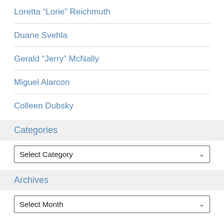Loretta “Lorie” Reichmuth
Duane Svehla
Gerald “Jerry” McNally
Miguel Alarcon
Colleen Dubsky
Categories
Select Category
Archives
Select Month